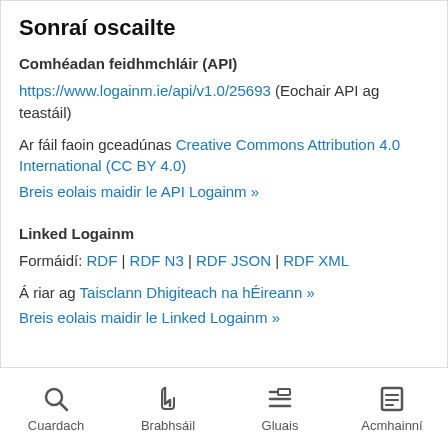Sonraí oscailte
Comhéadan feidhmchláir (API)
https://www.logainm.ie/api/v1.0/25693 (Eochair API ag teastáil)
Ar fáil faoin gceadúnas Creative Commons Attribution 4.0 International (CC BY 4.0)
Breis eolais maidir le API Logainm »
Linked Logainm
Formáidí: RDF | RDF N3 | RDF JSON | RDF XML
Á riar ag Taisclann Dhigiteach na hÉireann »
Breis eolais maidir le Linked Logainm »
Cuardach  Brabhsáil  Gluais  Acmhainní